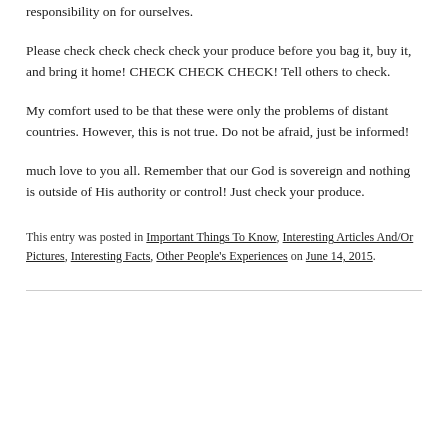responsibility on for ourselves.
Please check check check check your produce before you bag it, buy it, and bring it home! CHECK CHECK CHECK! Tell others to check.
My comfort used to be that these were only the problems of distant countries. However, this is not true. Do not be afraid, just be informed!
much love to you all. Remember that our God is sovereign and nothing is outside of His authority or control! Just check your produce.
This entry was posted in Important Things To Know, Interesting Articles And/Or Pictures, Interesting Facts, Other People's Experiences on June 14, 2015.